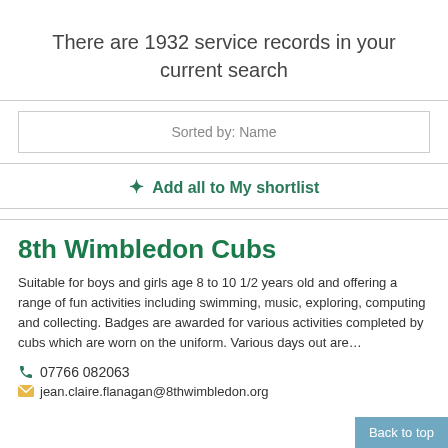There are 1932 service records in your current search
Sorted by: Name
+ Add all to My shortlist
8th Wimbledon Cubs
Suitable for boys and girls age 8 to 10 1/2 years old and offering a range of fun activities including swimming, music, exploring, computing and collecting. Badges are awarded for various activities completed by cubs which are worn on the uniform. Various days out are…
07766 082063
jean.claire.flanagan@8thwimbledon.org
Back to top